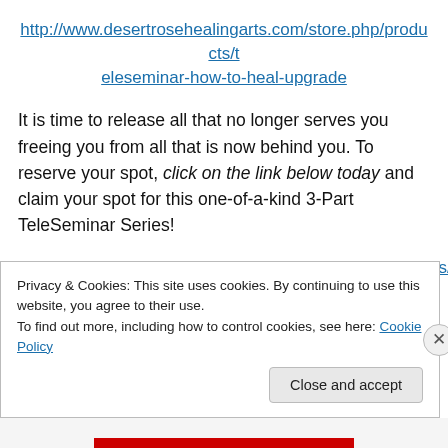http://www.desertrosehealingarts.com/store.php/products/teleseminar-how-to-heal-upgrade
It is time to release all that no longer serves you freeing you from all that is now behind you. To reserve your spot, click on the link below today and claim your spot for this one-of-a-kind 3-Part TeleSeminar Series!
http://www.desertrosehealingarts.com/store.php/products/teleseminar-how-to-heal-and-release-the-past
Privacy & Cookies: This site uses cookies. By continuing to use this website, you agree to their use.
To find out more, including how to control cookies, see here: Cookie Policy
Close and accept